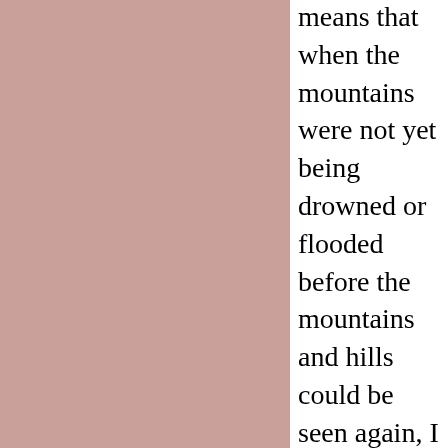[Figure (illustration): A solid mauve/dusty rose colored rectangular panel occupying the left portion of the page.]
means that when the mountains were not yet being drowned or flooded before the mountains and hills could be seen again, I was BROUGHT FORTH in the mind